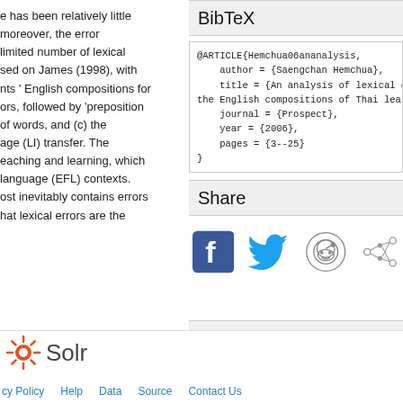e has been relatively little moreover, the error limited number of lexical sed on James (1998), with nts ' English compositions for ors, followed by 'preposition of words, and (c) the age (LI) transfer. The eaching and learning, which language (EFL) contexts. ost inevitably contains errors hat lexical errors are the
BibTeX
@ARTICLE{Hemchua06ananalysis,
    author = {Saengchan Hemchua},
    title = {An analysis of lexical errors in the English compositions of Thai learners},
    journal = {Prospect},
    year = {2006},
    pages = {3--25}
}
Share
[Figure (infographic): Social sharing icons: Facebook (blue square with f), Twitter (blue bird), Reddit (orange alien face), and a network/share icon]
OpenURL
[Figure (logo): Solr logo with orange sunburst icon and 'Solr' text]
cy Policy   Help   Data   Source   Contact Us